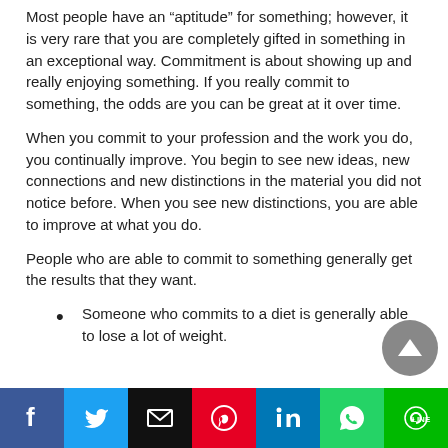Most people have an “aptitude” for something; however, it is very rare that you are completely gifted in something in an exceptional way. Commitment is about showing up and really enjoying something. If you really commit to something, the odds are you can be great at it over time.
When you commit to your profession and the work you do, you continually improve. You begin to see new ideas, new connections and new distinctions in the material you did not notice before. When you see new distinctions, you are able to improve at what you do.
People who are able to commit to something generally get the results that they want.
Someone who commits to a diet is generally able to lose a lot of weight.
Social share bar: Facebook, Twitter, Email, Pinterest, LinkedIn, WhatsApp, LINE